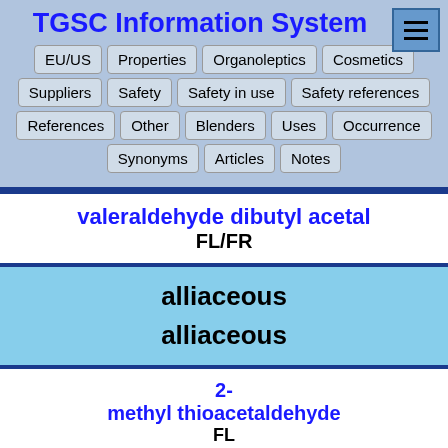TGSC Information System
EU/US
Properties
Organoleptics
Cosmetics
Suppliers
Safety
Safety in use
Safety references
References
Other
Blenders
Uses
Occurrence
Synonyms
Articles
Notes
valeraldehyde dibutyl acetal
FL/FR
alliaceous
alliaceous
2-methyl thioacetaldehyde
FL
tropical thiazole
FL/FR